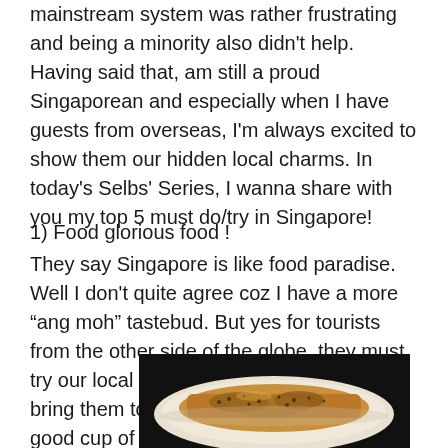mainstream system was rather frustrating and being a minority also didn't help. Having said that, am still a proud Singaporean and especially when I have guests from overseas, I'm always excited to show them our hidden local charms. In today's Selbs' Series, I wanna share with you my top 5 must do/try in Singapore!
1) Food glorious food !
They say Singapore is like food paradise. Well I don't quite agree coz I have a more "ang moh" tastebud. But yes for tourists from the other side of the globe, they must try our local food. My favorite would be to bring them to Zam Zam, at Arab Street. A good cup of teh tarik, a huge piece of murtabak and a generous plate of mee goreng! YUMM.
[Figure (photo): A plate of food, likely murtabak, on a white plate, photographed from above. The food appears golden-brown with toppings.]